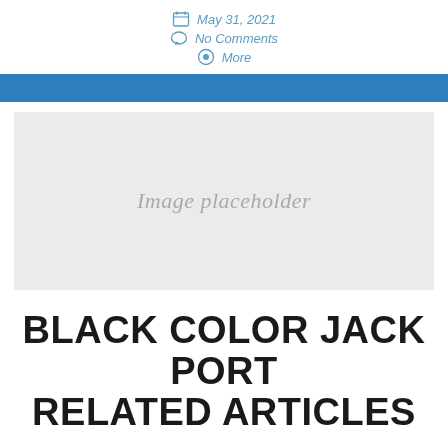May 31, 2021
No Comments
More
[Figure (other): Blue horizontal banner bar]
[Figure (photo): Image placeholder — large grey rectangle with italic script text 'Image placeholder']
BLACK COLOR JACK PORT RELATED ARTICLES